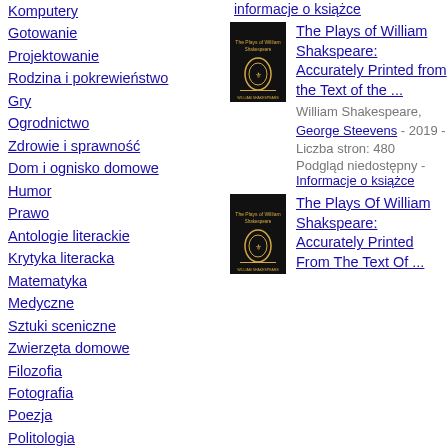Komputery
Gotowanie
Projektowanie
Rodzina i pokrewieństwo
Gry
Ogrodnictwo
Zdrowie i sprawność
Dom i ognisko domowe
Humor
Prawo
Antologie literackie
Krytyka literacka
Matematyka
Medyczne
Sztuki sceniczne
Zwierzęta domowe
Filozofia
Fotografia
Poezja
Politologia
Psychologia
Religia
Samorozwój
[Figure (photo): Book cover of The Plays of William Shakspeare - dark/black cover with gold laurel wreath emblem, first entry]
The Plays of William Shakspeare: Accurately Printed from the Text of the ...
William Shakespeare, George Steevens - 2019 - Liczba stron: 480
Podgląd niedostępny - Informacje o książce
[Figure (photo): Book cover of The Plays Of William Shakspeare - dark/black cover with gold laurel wreath emblem, second entry]
The Plays Of William Shakspeare: Accurately Printed From The Text Of ...